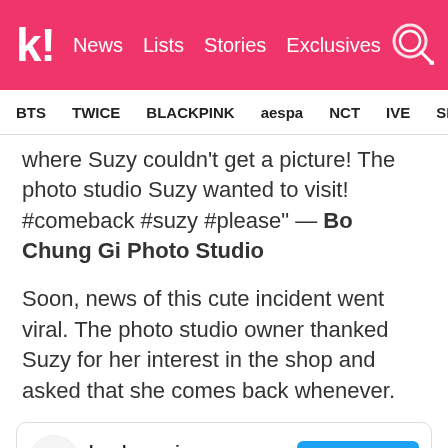k! News Lists Stories Exclusives
BTS TWICE BLACKPINK aespa NCT IVE SHINee
where Suzy couldn't get a picture! The photo studio Suzy wanted to visit! #comeback #suzy #please" — Bo Chung Gi Photo Studio
Soon, news of this cute incident went viral. The photo studio owner thanked Suzy for her interest in the shop and asked that she comes back whenever.
[Figure (screenshot): Tweet card from bo.chung.gi with 2,770 followers, showing a View profile button and a thumbnail image with time '38분' and globe icon]